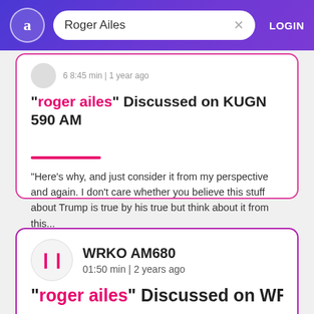Roger Ailes | LOGIN
6 8:45 min | 1 year ago
"roger ailes" Discussed on KUGN 590 AM
"Here's why, and just consider it from my perspective and again. I don't care whether you believe this stuff about Trump is true by his true but think about it from this...
Trump
Joe Biden
president
FBI
WRKO AM680
01:50 min | 2 years ago
"roger ailes" Discussed on WRKO AM680